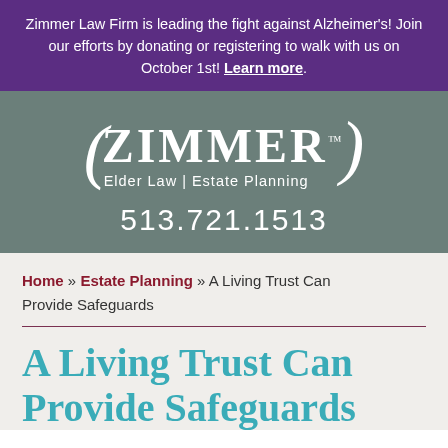Zimmer Law Firm is leading the fight against Alzheimer's! Join our efforts by donating or registering to walk with us on October 1st! Learn more.
[Figure (logo): Zimmer Law Firm logo with parentheses, ZIMMER wordmark, tagline 'Elder Law | Estate Planning', and phone number 513.721.1513 on a grey-green background]
Home » Estate Planning » A Living Trust Can Provide Safeguards
A Living Trust Can Provide Safeguards